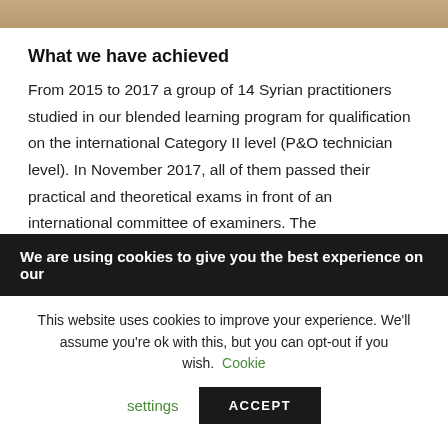[Figure (photo): Partial photo strip at the top of the page, showing warm brownish tones]
What we have achieved
From 2015 to 2017 a group of 14 Syrian practitioners studied in our blended learning program for qualification on the international Category II level (P&O technician level). In November 2017, all of them passed their practical and theoretical exams in front of an international committee of examiners. The
We are using cookies to give you the best experience on our
This website uses cookies to improve your experience. We'll assume you're ok with this, but you can opt-out if you wish. Cookie settings ACCEPT